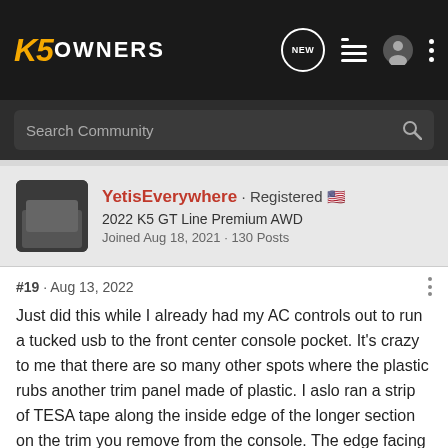K5 OWNERS
Search Community
YetisEverywhere · Registered
2022 K5 GT Line Premium AWD
Joined Aug 18, 2021 · 130 Posts
#19 · Aug 13, 2022
Just did this while I already had my AC controls out to run a tucked usb to the front center console pocket. It's crazy to me that there are so many other spots where the plastic rubs another trim panel made of plastic. I aslo ran a strip of TESA tape along the inside edge of the longer section on the trim you remove from the console. The edge facing the cupholders. It has visible marks on it where the panels touch.